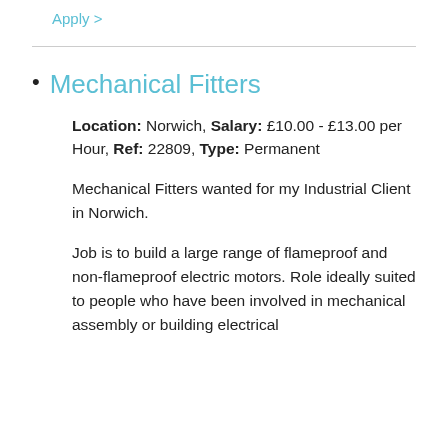Apply >
Mechanical Fitters
Location: Norwich, Salary: £10.00 - £13.00 per Hour, Ref: 22809, Type: Permanent
Mechanical Fitters wanted for my Industrial Client in Norwich.
Job is to build a large range of flameproof and non-flameproof electric motors. Role ideally suited to people who have been involved in mechanical assembly or building electrical